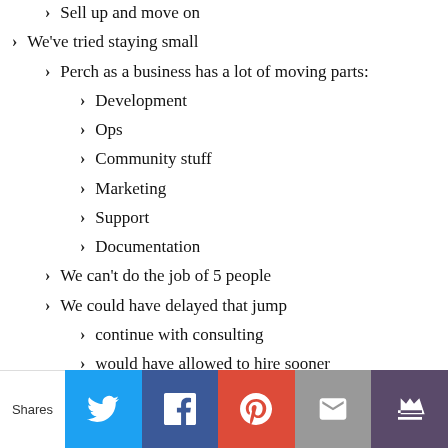Sell up and move on (partial, top of page)
We've tried staying small
Perch as a business has a lot of moving parts:
Development
Ops
Community stuff
Marketing
Support
Documentation
We can't do the job of 5 people
We could have delayed that jump
continue with consulting
would have allowed to hire sooner
could have self-funded first hire (partial)